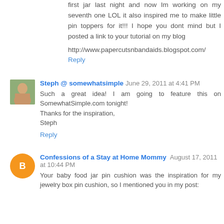first jar last night and now Im working on my seventh one LOL it also inspired me to make little pin toppers for it!!! I hope you dont mind but I posted a link to your tutorial on my blog
http://www.papercutsnbandaids.blogspot.com/
Reply
Steph @ somewhatsimple  June 29, 2011 at 4:41 PM
Such a great idea! I am going to feature this on SomewhatSimple.com tonight!
Thanks for the inspiration,
Steph
Reply
Confessions of a Stay at Home Mommy  August 17, 2011 at 10:44 PM
Your baby food jar pin cushion was the inspiration for my jewelry box pin cushion, so I mentioned you in my post: